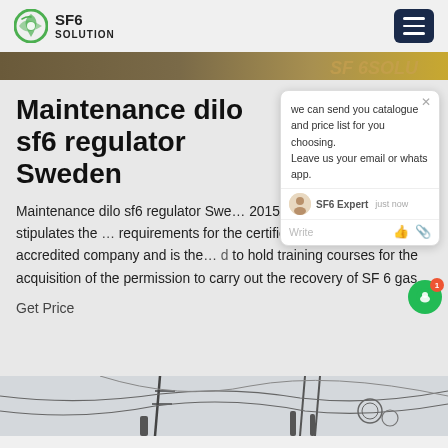[Figure (logo): SF6 Solution logo with green circular icon and text 'SF6 SOLUTION']
[Figure (screenshot): Header navigation bar with hamburger menu icon on dark blue background]
[Figure (photo): Hero banner image strip with earth/landscape background and SF6 brand text]
Maintenance dilo sf6 regulator Sweden
[Figure (screenshot): Chat popup overlay with message: 'we can send you catalogue and price list for you choosing. Leave us your email or whatsapp.' with SF6 Expert agent avatar and just now timestamp]
Maintenance dilo sf6 regulator Sweden 2015/2066 regulation stipulates the requirements for the certification LO is an accredited company and is the d to hold training courses for the acquisition of the permission to carry out the recovery of SF 6 gas.
Get Price
[Figure (photo): Bottom image strip showing electrical equipment/cables against sky background]